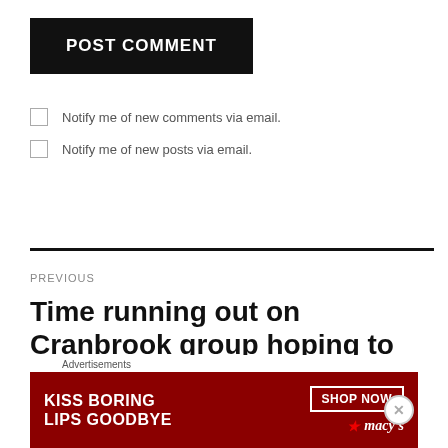POST COMMENT
Notify me of new comments via email.
Notify me of new posts via email.
PREVIOUS
Time running out on Cranbrook group hoping to relocate iunior B Kelowna
[Figure (other): Advertisement banner: KISS BORING LIPS GOODBYE with Macy's branding and SHOP NOW button]